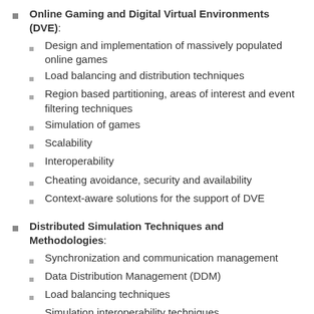Online Gaming and Digital Virtual Environments (DVE):
Design and implementation of massively populated online games
Load balancing and distribution techniques
Region based partitioning, areas of interest and event filtering techniques
Simulation of games
Scalability
Interoperability
Cheating avoidance, security and availability
Context-aware solutions for the support of DVE
Distributed Simulation Techniques and Methodologies:
Synchronization and communication management
Data Distribution Management (DDM)
Load balancing techniques
Simulation interoperability techniques